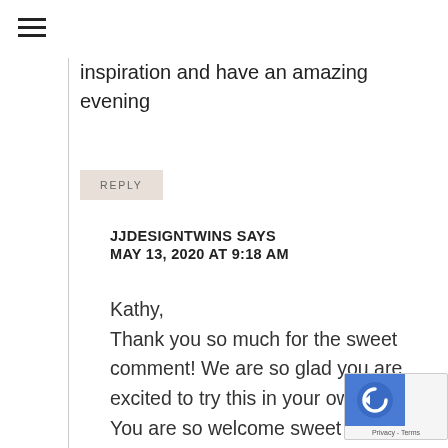[Figure (other): Hamburger menu icon (three horizontal lines)]
inspiration and have an amazing evening
REPLY
JJDESIGNTWINS SAYS
MAY 13, 2020 AT 9:18 AM
Kathy,
Thank you so much for the sweet comment! We are so glad you are excited to try this in your own home! You are so welcome sweet friend! Lots of love,
[Figure (other): reCAPTCHA privacy badge with blue icon and Privacy - Terms text]